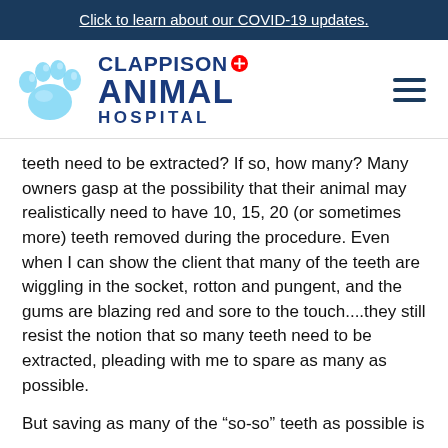Click to learn about our COVID-19 updates.
[Figure (logo): Clappison Animal Hospital logo with paw print and red cross]
teeth need to be extracted?  If so, how many?  Many owners gasp at the possibility that their animal may realistically need to have 10, 15, 20 (or sometimes more) teeth removed during the procedure.    Even when I can show the client that many of the teeth are wiggling in the socket, rotton and pungent, and the gums are blazing red and sore to the touch....they still resist the notion that so many teeth need to be extracted, pleading with me to spare as many as possible.
But saving as many of the “so-so” teeth as possible is